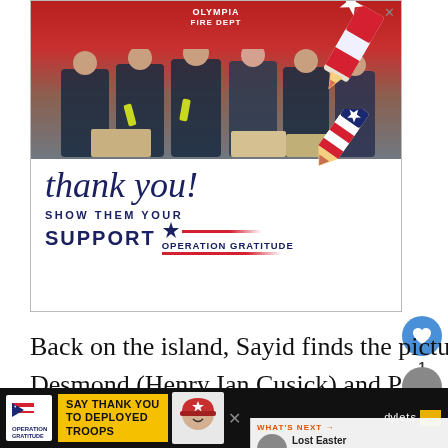[Figure (photo): Advertisement for Operation Gratitude showing firefighters from Olympia Fire Department posing with boxes of supplies, with a 'thank you!' cursive script, a patriotic pencil illustration, and text 'SHOW THEM YOUR SUPPORT' with Operation Gratitude logo.]
Back on the island, Sayid finds the picture of Desmond (Henry Ian Cusick) and Pe[nny in] Naomi's bag.  He wants to know what [he] c[ould find out about...] [dy]lets
[Figure (infographic): Bottom banner advertisement for Operation Gratitude with text 'SAY THANK YOU TO DEPLOYED TROOPS' on dark background with mascot illustration.]